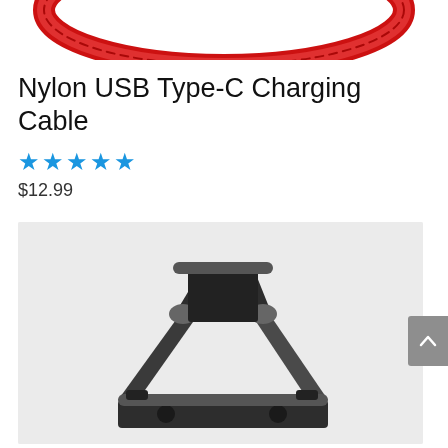[Figure (photo): Top portion of red nylon USB cable on white background, partially cropped at top of page]
Nylon USB Type-C Charging Cable
★★★★★
$12.99
[Figure (photo): Black adjustable foldable desktop phone/tablet stand with two cylindrical hinges, photographed on light grey background]
[Figure (other): Grey scroll-to-top button with upward chevron arrow on right side of page]